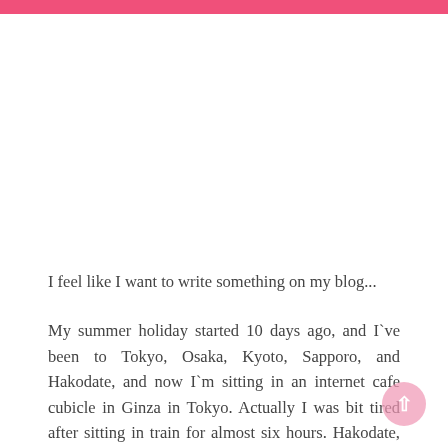I feel like I want to write something on my blog...
My summer holiday started 10 days ago, and I`ve been to Tokyo, Osaka, Kyoto, Sapporo, and Hakodate, and now I`m sitting in an internet cafe cubicle in Ginza in Tokyo. Actually I was bit tired after sitting in train for almost six hours. Hakodate, Aomori, and transfer to Shinkansen to Tokyo. Then